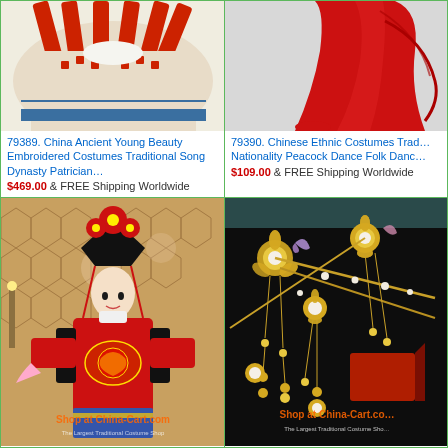[Figure (photo): China Ancient Young Beauty Embroidered Costumes Traditional Song Dynasty Patrician garment closeup photo]
79389. China Ancient Young Beauty Embroidered Costumes Traditional Song Dynasty Patrician…
$469.00 & FREE Shipping Worldwide
[Figure (photo): Chinese Ethnic Costumes Traditional Nationality Peacock Dance Folk Dance red costume photo]
79390. Chinese Ethnic Costumes Traditional Nationality Peacock Dance Folk Danc…
$109.00 & FREE Shipping Worldwide
[Figure (photo): Woman in red traditional Chinese opera costume with elaborate headdress, Shop at China-Cart.com]
[Figure (photo): Traditional Chinese hair accessories with pearls and flowers on dark background, Shop at China-Cart.com]